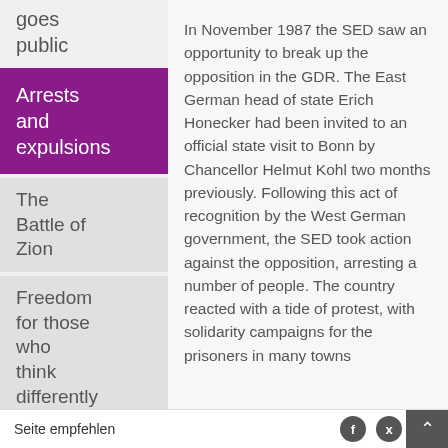goes public
Arrests and expulsions
The Battle of Zion
Freedom for those who think differently
The
In November 1987 the SED saw an opportunity to break up the opposition in the GDR. The East German head of state Erich Honecker had been invited to an official state visit to Bonn by Chancellor Helmut Kohl two months previously. Following this act of recognition by the West German government, the SED took action against the opposition, arresting a number of people. The country reacted with a tide of protest, with solidarity campaigns for the prisoners in many towns
Seite empfehlen